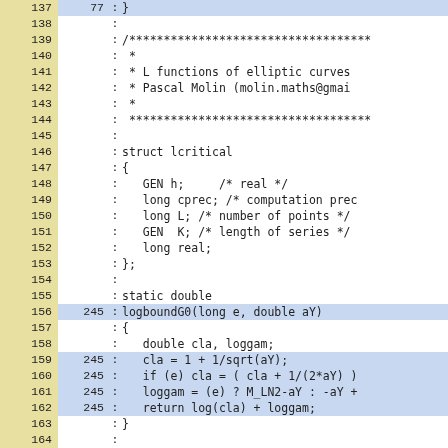[Figure (screenshot): Code diff view showing C source code lines 137-166 with line numbers on the left (yellow background), diff line numbers in a second column, a colon separator, and the code content. Several lines are highlighted in blue indicating changed/matched lines.]